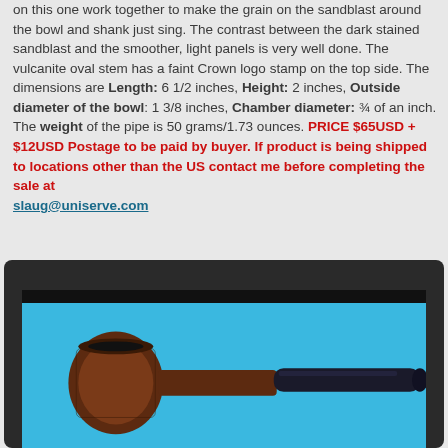on this one work together to make the grain on the sandblast around the bowl and shank just sing. The contrast between the dark stained sandblast and the smoother, light panels is very well done. The vulcanite oval stem has a faint Crown logo stamp on the top side. The dimensions are Length: 6 1/2 inches, Height: 2 inches, Outside diameter of the bowl: 1 3/8 inches, Chamber diameter: ¾ of an inch. The weight of the pipe is 50 grams/1.73 ounces. PRICE $65USD + $12USD Postage to be paid by buyer. If product is being shipped to locations other than the US contact me before completing the sale at slaug@uniserve.com
[Figure (photo): Photo of a tobacco pipe with a dark sandblasted bowl and black vulcanite stem, displayed on a blue background inside a dark-framed photo border.]